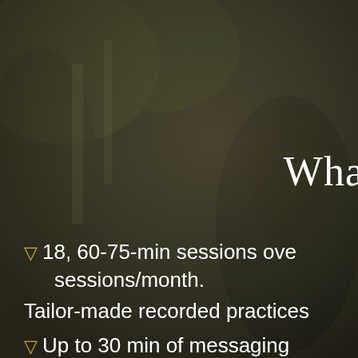[Figure (photo): Background photo of a woman with long hair standing among trees, with a dark semi-transparent overlay. Natural outdoor scene with trees and foliage.]
Wha
18, 60-75-min sessions over sessions/month. Tailor-made recorded practices
Up to 30 min of messaging